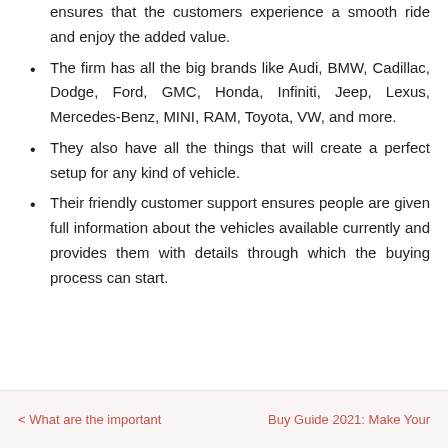ensures that the customers experience a smooth ride and enjoy the added value.
The firm has all the big brands like Audi, BMW, Cadillac, Dodge, Ford, GMC, Honda, Infiniti, Jeep, Lexus, Mercedes-Benz, MINI, RAM, Toyota, VW, and more.
They also have all the things that will create a perfect setup for any kind of vehicle.
Their friendly customer support ensures people are given full information about the vehicles available currently and provides them with details through which the buying process can start.
< What are the important    Buy Guide 2021: Make Your